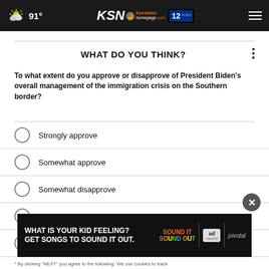91° KSN fourstates homepage.com 12 KCKS
WHAT DO YOU THINK?
To what extent do you approve or disapprove of President Biden's overall management of the immigration crisis on the Southern border?
Strongly approve
Somewhat approve
Somewhat disapprove
Strongly disapprove
Other / No opinion
[Figure (other): Advertisement banner: WHAT IS YOUR KID FEELING? GET SONGS TO SOUND IT OUT. Sound It Out / ad council / pivotal]
* By clicking NEXT you agree to the following: We use cookies to track